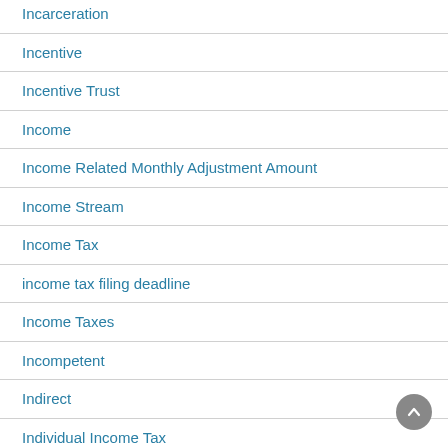Incarceration
Incentive
Incentive Trust
Income
Income Related Monthly Adjustment Amount
Income Stream
Income Tax
income tax filing deadline
Income Taxes
Incompetent
Indirect
Individual Income Tax
Individual Retirement Account